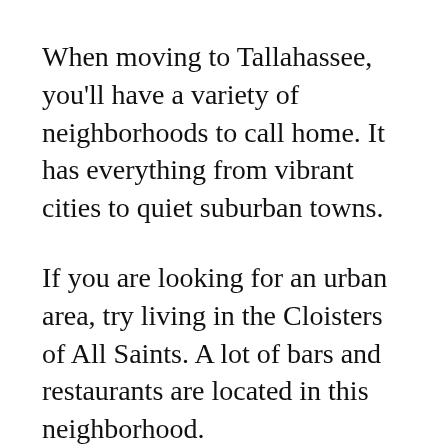When moving to Tallahassee, you'll have a variety of neighborhoods to call home. It has everything from vibrant cities to quiet suburban towns.
If you are looking for an urban area, try living in the Cloisters of All Saints. A lot of bars and restaurants are located in this neighborhood.
Are you hoping for a quieter place to call home? If so, Betton Hills is full of parks and libraries.
If you search for “luxury homes near me,”